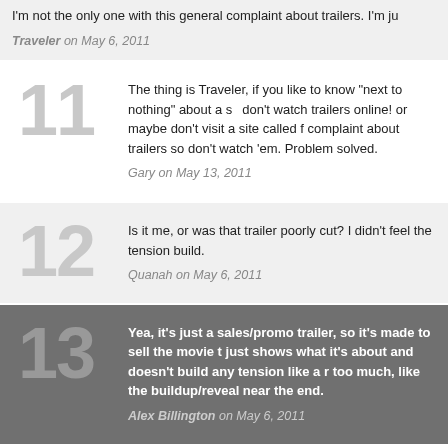I'm not the only one with this general complaint about trailers. I'm ju
Traveler on May 6, 2011
11 - The thing is Traveler, if you like to know "next to nothing" about a ... don't watch trailers online! or maybe don't visit a site called f... complaint about trailers so don't watch 'em. Problem solved. Gary on May 13, 2011
12 - Is it me, or was that trailer poorly cut? I didn't feel the tension build. Quanah on May 6, 2011
13 - Yea, it's just a sales/promo trailer, so it's made to sell the movie t... just shows what it's about and doesn't build any tension like a r... too much, like the buildup/reveal near the end. Alex Billington on May 6, 2011
14 - I hope Cillian Murphy does more American mainstream movies from... Hobbs on May 6, 2011